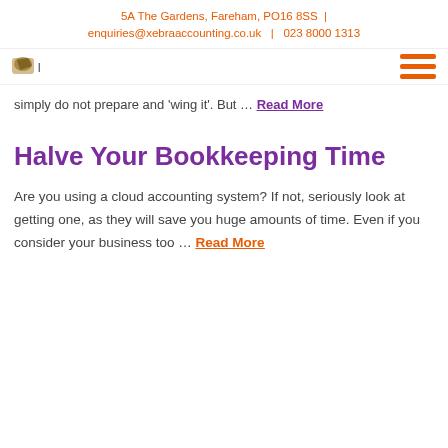5A The Gardens, Fareham, PO16 8SS | enquiries@xebraaccounting.co.uk | 023 8000 1313
[Figure (logo): Xebra Accounting logo with small animal graphic]
simply do not prepare and 'wing it'. But … Read More
Halve Your Bookkeeping Time
Are you using a cloud accounting system? If not, seriously look at getting one, as they will save you huge amounts of time. Even if you consider your business too … Read More